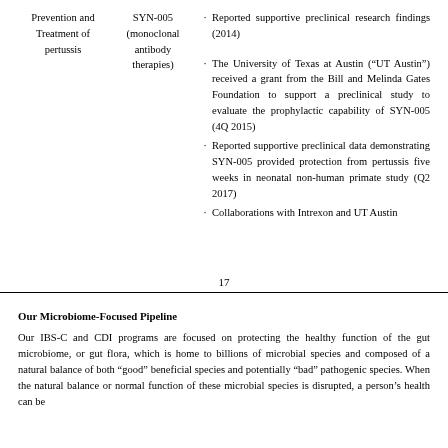Reported supportive preclinical research findings (2014)
The University of Texas at Austin (“UT Austin”) received a grant from the Bill and Melinda Gates Foundation to support a preclinical study to evaluate the prophylactic capability of SYN-005 (4Q 2015)
Reported supportive preclinical data demonstrating SYN-005 provided protection from pertussis five weeks in neonatal non-human primate study (Q2 2017)
Collaborations with Intrexon and UT Austin
17
Our Microbiome-Focused Pipeline
Our IBS-C and CDI programs are focused on protecting the healthy function of the gut microbiome, or gut flora, which is home to billions of microbial species and composed of a natural balance of both “good” beneficial species and potentially “bad” pathogenic species. When the natural balance or normal function of these microbial species is disrupted, a person’s health can be